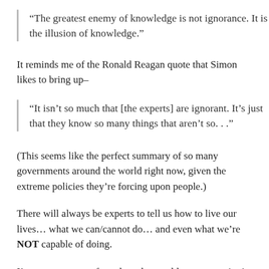“The greatest enemy of knowledge is not ignorance. It is the illusion of knowledge.”
It reminds me of the Ronald Reagan quote that Simon likes to bring up–
“It isn’t so much that [the experts] are ignorant. It’s just that they know so many things that aren’t so. . .”
(This seems like the perfect summary of so many governments around the world right now, given the extreme policies they’re forcing upon people.)
There will always be experts to tell us how to live our lives… what we can/cannot do… and even what we’re NOT capable of doing.
I’m sure so many of you have been told, at some point in your